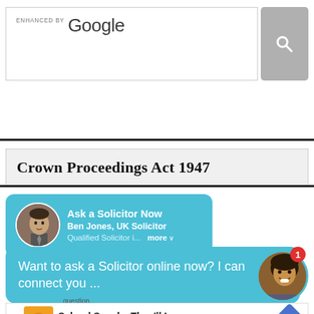[Figure (screenshot): Google enhanced search bar with search icon button]
Crown Proceedings Act 1947
[Figure (screenshot): Ask a Solicitor Now chat widget with photo of Ben Jones, UK Solicitor. Text: Qualified Solicitor i... more]
[Figure (screenshot): Chat bubble popup: Want to ask a Solicitor online now? I can connect you ... with female avatar and notification badge 1]
[Figure (screenshot): Advertisement banner: School Snacks They'll Love - Wegmans]